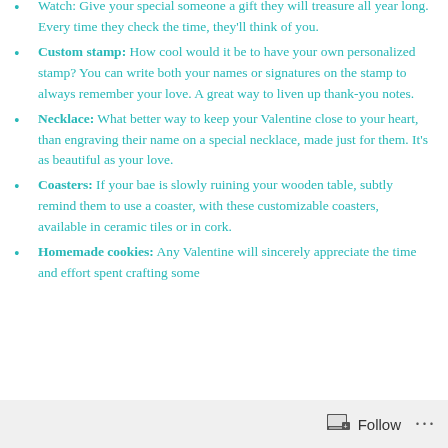Watch: Give your special someone a gift they will treasure all year long. Every time they check the time, they'll think of you.
Custom stamp: How cool would it be to have your own personalized stamp? You can write both your names or signatures on the stamp to always remember your love. A great way to liven up thank-you notes.
Necklace: What better way to keep your Valentine close to your heart, than engraving their name on a special necklace, made just for them. It's as beautiful as your love.
Coasters: If your bae is slowly ruining your wooden table, subtly remind them to use a coaster, with these customizable coasters, available in ceramic tiles or in cork.
Homemade cookies: Any Valentine will sincerely appreciate the time and effort spent crafting some...
Follow ···